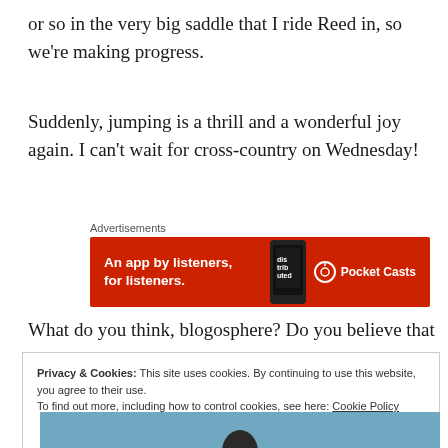or so in the very big saddle that I ride Reed in, so we're making progress.
Suddenly, jumping is a thrill and a wonderful joy again. I can't wait for cross-country on Wednesday!
[Figure (other): Pocket Casts advertisement banner: red background with text 'An app by listeners, for listeners.' and Pocket Casts logo with phone image]
What do you think, blogosphere? Do you believe that a
Privacy & Cookies: This site uses cookies. By continuing to use this website, you agree to their use.
To find out more, including how to control cookies, see here: Cookie Policy
[Figure (photo): Partial image at bottom of page, blue/teal background with dark silhouette]